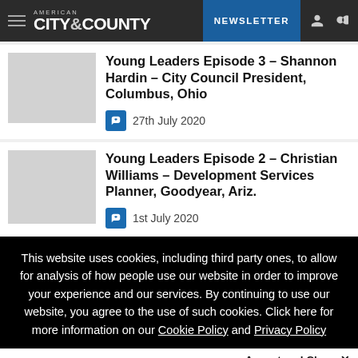American City & County — NEWSLETTER
Young Leaders Episode 3 – Shannon Hardin – City Council President, Columbus, Ohio
27th July 2020
Young Leaders Episode 2 – Christian Williams – Development Services Planner, Goodyear, Ariz.
1st July 2020
This website uses cookies, including third party ones, to allow for analysis of how people use our website in order to improve your experience and our services. By continuing to use our website, you agree to the use of such cookies. Click here for more information on our Cookie Policy and Privacy Policy
Accept and Close ✕
Your browser settings do not allow cross-site tracking for advertising. Click on this page to allow AdRoll to use cross-site tracking to tailor ads to you. Learn more or opt out of this AdRoll tracking by clicking here. This message only appears once.